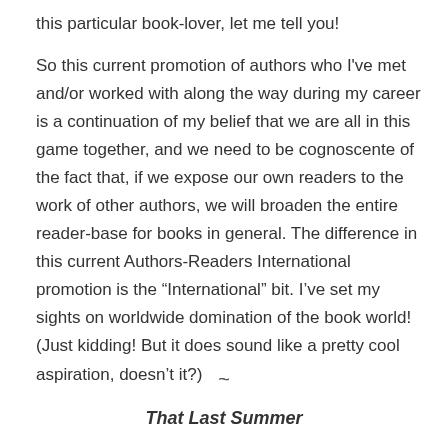this particular book-lover, let me tell you!
So this current promotion of authors who I've met and/or worked with along the way during my career is a continuation of my belief that we are all in this game together, and we need to be cognoscente of the fact that, if we expose our own readers to the work of other authors, we will broaden the entire reader-base for books in general. The difference in this current Authors-Readers International promotion is the “International” bit. I’ve set my sights on worldwide domination of the book world! (Just kidding! But it does sound like a pretty cool aspiration, doesn’t it?)
~
That Last Summer